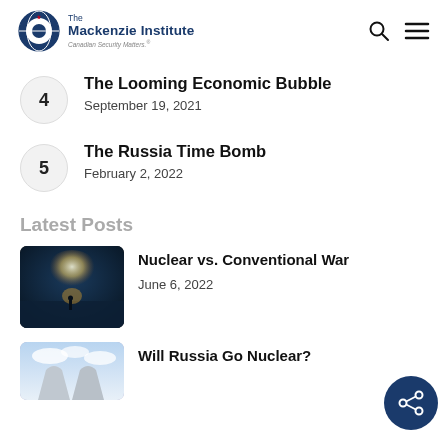The Mackenzie Institute — Canadian Security Matters.
4 — The Looming Economic Bubble — September 19, 2021
5 — The Russia Time Bomb — February 2, 2022
Latest Posts
Nuclear vs. Conventional War — June 6, 2022
Will Russia Go Nuclear?